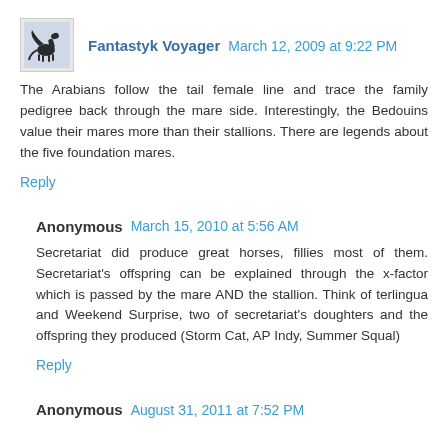Fantastyk Voyager  March 12, 2009 at 9:22 PM
The Arabians follow the tail female line and trace the family pedigree back through the mare side. Interestingly, the Bedouins value their mares more than their stallions. There are legends about the five foundation mares.
Reply
Anonymous  March 15, 2010 at 5:56 AM
Secretariat did produce great horses, fillies most of them. Secretariat's offspring can be explained through the x-factor which is passed by the mare AND the stallion. Think of terlingua and Weekend Surprise, two of secretariat's doughters and the offspring they produced (Storm Cat, AP Indy, Summer Squal)
Reply
Anonymous  August 31, 2011 at 7:52 PM